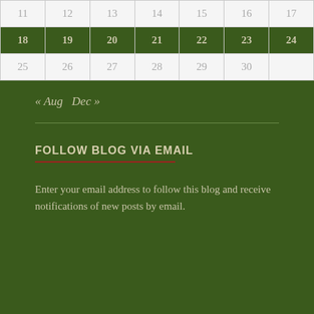| 11 | 12 | 13 | 14 | 15 | 16 | 17 |
| 18 | 19 | 20 | 21 | 22 | 23 | 24 |
| 25 | 26 | 27 | 28 | 29 | 30 |  |
« Aug   Dec »
FOLLOW BLOG VIA EMAIL
Enter your email address to follow this blog and receive notifications of new posts by email.